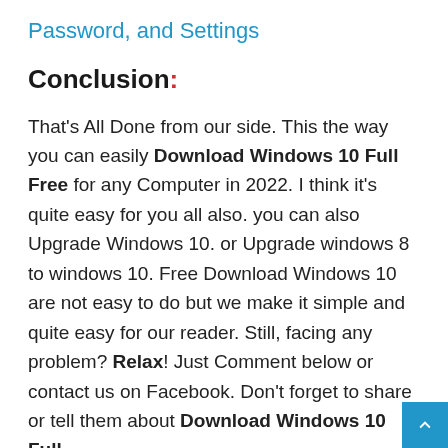Password, and Settings
Conclusion:
That's All Done from our side. This the way you can easily Download Windows 10 Full Free for any Computer in 2022. I think it's quite easy for you all also. you can also Upgrade Windows 10. or Upgrade windows 8 to windows 10. Free Download Windows 10 are not easy to do but we make it simple and quite easy for our reader. Still, facing any problem? Relax! Just Comment below or contact us on Facebook. Don't forget to share or tell them about Download Windows 10 Full